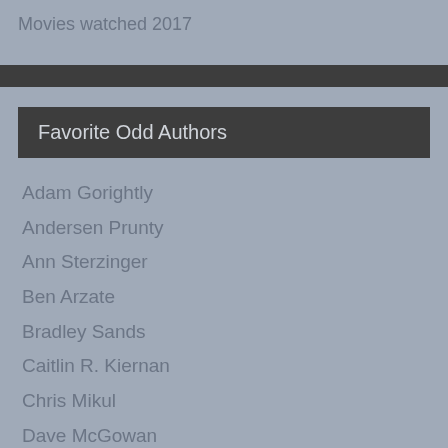Movies watched 2017
Favorite Odd Authors
Adam Gorightly
Andersen Prunty
Ann Sterzinger
Ben Arzate
Bradley Sands
Caitlin R. Kiernan
Chris Mikul
Dave McGowan
Dennis Cooper
Donna Kossy
Hank Kirton